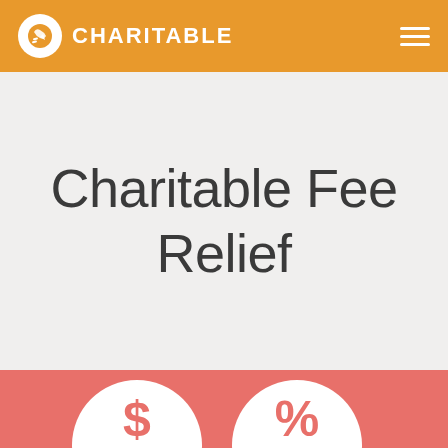CHARITABLE
Charitable Fee Relief
[Figure (infographic): Bottom pink section with two white circles showing dollar sign ($) and percent sign (%) symbols]